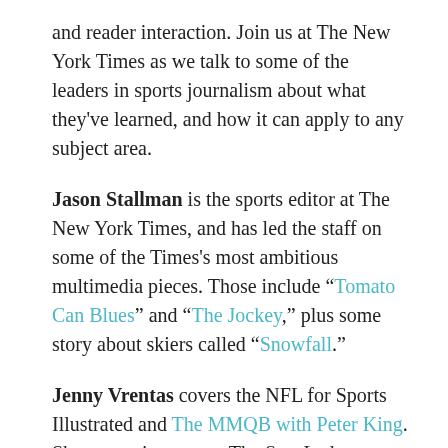and reader interaction. Join us at The New York Times as we talk to some of the leaders in sports journalism about what they've learned, and how it can apply to any subject area.
Jason Stallman is the sports editor at The New York Times, and has led the staff on some of the Times's most ambitious multimedia pieces. Those include "Tomato Can Blues" and "The Jockey," plus some story about skiers called "Snowfall."
Jenny Vrentas covers the NFL for Sports Illustrated and The MMQB with Peter King. She spent six years at The Star-Ledger, including three seasons covering the Jets and Giants. She is active on Twitter at @JennyVrentas.
Dan Rubenstein is a producer/host for SB Nation and